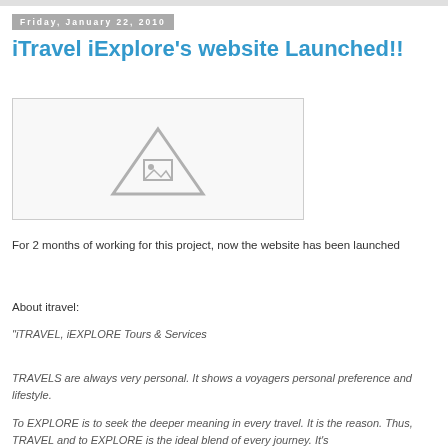Friday, January 22, 2010
iTravel iExplore's website Launched!!
[Figure (other): Broken image placeholder icon — a grey triangle with an image icon inside, shown in a light bordered box]
For 2 months of working for this project, now the website has been launched
About itravel:
"iTRAVEL, iEXPLORE Tours & Services
TRAVELS are always very personal. It shows a voyagers personal preference and lifestyle.
To EXPLORE is to seek the deeper meaning in every travel. It is the reason. Thus, TRAVEL and to EXPLORE is the ideal blend of every journey. It's